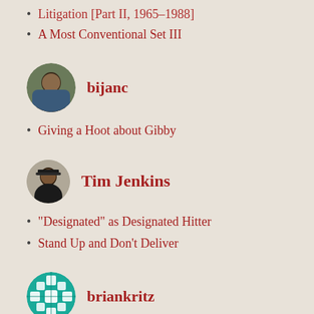Litigation [Part II, 1965–1968]
A Most Conventional Set III
bijanc
Giving a Hoot about Gibby
Tim Jenkins
“Designated” as Designated Hitter
Stand Up and Don’t Deliver
briankritz
Don Sutton, 1945–2021
RIP Tommy Lasorda (1927–2021)